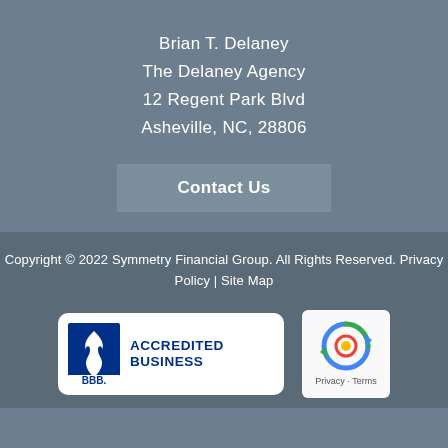Brian T. Delaney
The Delaney Agency
12 Regent Park Blvd
Asheville, NC, 28806
Contact Us
Copyright © 2022 Symmetry Financial Group. All Rights Reserved. Privacy Policy | Site Map
[Figure (logo): BBB Accredited Business badge with blue BBB logo and text]
[Figure (logo): Google reCAPTCHA badge with Privacy and Terms links]